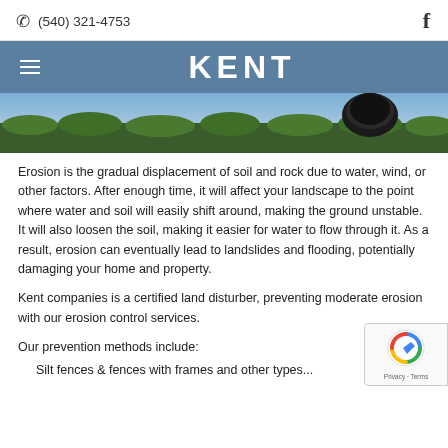📞 (540) 321-4753   f
[Figure (logo): KENT company logo on blue navigation bar with hamburger menu icon]
[Figure (photo): Hero image showing green grass and a dark cylindrical drainage pipe]
Erosion is the gradual displacement of soil and rock due to water, wind, or other factors. After enough time, it will affect your landscape to the point where water and soil will easily shift around, making the ground unstable. It will also loosen the soil, making it easier for water to flow through it. As a result, erosion can eventually lead to landslides and flooding, potentially damaging your home and property.
Kent companies is a certified land disturber, preventing moderate erosion with our erosion control services.
Our prevention methods include:
Silt fences & fences with frames and other types...